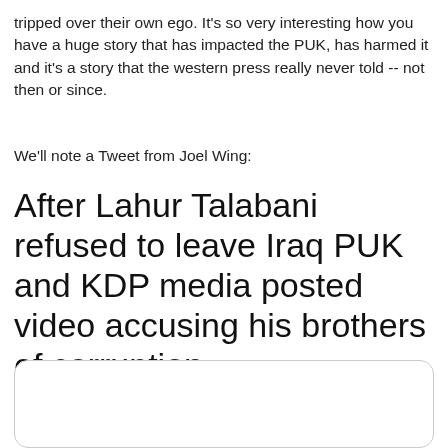tripped over their own ego. It's so very interesting how you have a huge story that has impacted the PUK, has harmed it and it's a story that the western press really never told -- not then or since.
We'll note a Tweet from Joel Wing:
After Lahur Talabani refused to leave Iraq PUK and KDP media posted video accusing his brothers of corruption
[Figure (screenshot): Embedded tweet card (mostly blank/loading) with rounded border]